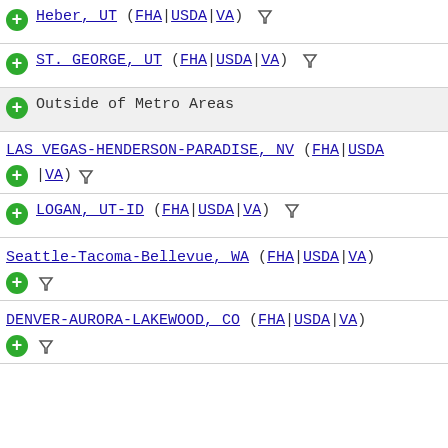Heber, UT (FHA|USDA|VA) [filter]
ST. GEORGE, UT (FHA|USDA|VA) [filter]
Outside of Metro Areas
LAS VEGAS-HENDERSON-PARADISE, NV (FHA|USDA|VA) [filter]
LOGAN, UT-ID (FHA|USDA|VA) [filter]
Seattle-Tacoma-Bellevue, WA (FHA|USDA|VA) [filter]
DENVER-AURORA-LAKEWOOD, CO (FHA|USDA|VA) [filter]